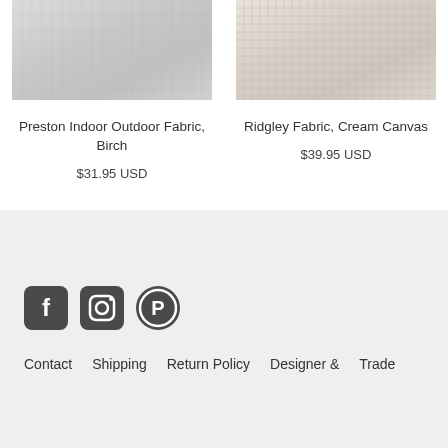[Figure (photo): Close-up of light grey/white textured fabric (Preston Indoor Outdoor Fabric, Birch)]
Preston Indoor Outdoor Fabric, Birch
$31.95 USD
[Figure (photo): Close-up of cream/beige woven fabric (Ridgley Fabric, Cream Canvas)]
Ridgley Fabric, Cream Canvas
$39.95 USD
[Figure (other): Social media icons: Facebook, Instagram, Pinterest]
Contact   Shipping   Return Policy   Designer & Trade